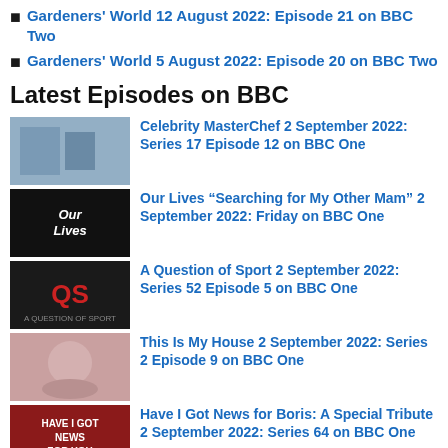Gardeners' World 12 August 2022: Episode 21 on BBC Two
Gardeners' World 5 August 2022: Episode 20 on BBC Two
Latest Episodes on BBC
Celebrity MasterChef 2 September 2022: Series 17 Episode 12 on BBC One
Our Lives “Searching for My Other Mam” 2 September 2022: Friday on BBC One
A Question of Sport 2 September 2022: Series 52 Episode 5 on BBC One
This Is My House 2 September 2022: Series 2 Episode 9 on BBC One
Have I Got News for Boris: A Special Tribute 2 September 2022: Series 64 on BBC One
Ambulance 1 September 2022: Series 9 Episode 4 on BBC One